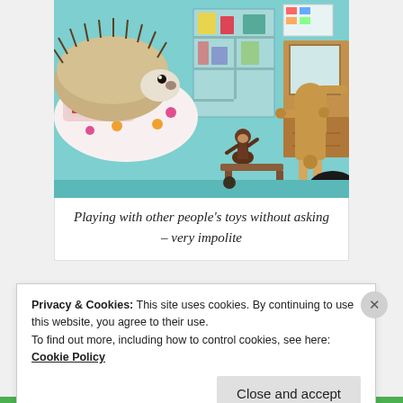[Figure (photo): A hedgehog in a small dollhouse bedroom scene with toy figurines, a floral bed, wooden furniture, and a wooden artist mannequin.]
Playing with other people's toys without asking – very impolite
Privacy & Cookies: This site uses cookies. By continuing to use this website, you agree to their use.
To find out more, including how to control cookies, see here: Cookie Policy